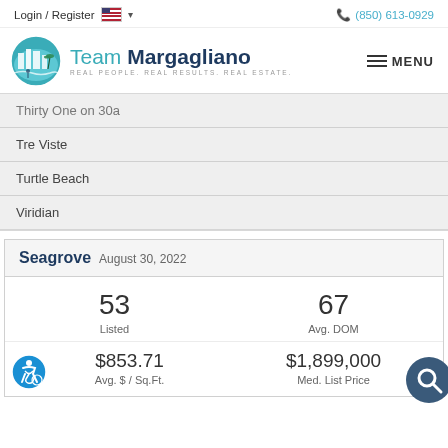Login / Register  (850) 613-0929
[Figure (logo): Team Margagliano real estate logo with circular teal icon showing buildings, beach scene. Text: Team Margagliano REAL PEOPLE. REAL RESULTS. REAL ESTATE. MENU navigation button.]
Thirty One on 30a
Tre Viste
Turtle Beach
Viridian
Seagrove  August 30, 2022
|  |  |
| --- | --- |
| 53
Listed | 67
Avg. DOM |
| $853.71
Avg. $ / Sq.Ft. | $1,899,000
Med. List Price |